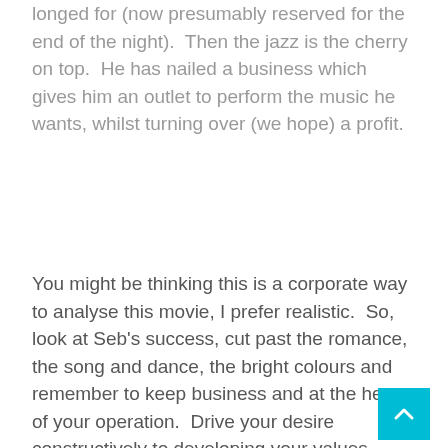longed for (now presumably reserved for the end of the night).  Then the jazz is the cherry on top.  He has nailed a business which gives him an outlet to perform the music he wants, whilst turning over (we hope) a profit.
You might be thinking this is a corporate way to analyse this movie, I prefer realistic.  So, look at Seb's success, cut past the romance, the song and dance, the bright colours and remember to keep business and at the heart of your operation.  Drive your desire constructively to developing your values alongside the current climate with the aim of breaking even or making money so that you can reinvest it and do more work that matters to you and your viewers!  Adapt your mind set and progress with the times.